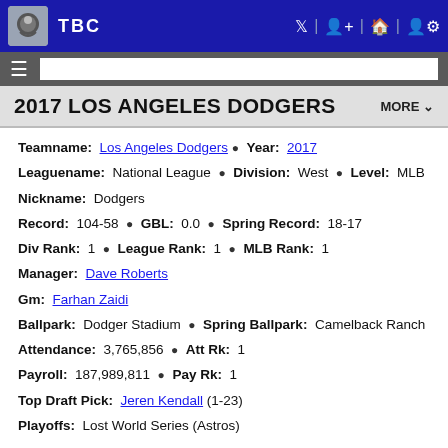TBC
2017 LOS ANGELES DODGERS
Teamname: Los Angeles Dodgers • Year: 2017
Leaguename: National League • Division: West • Level: MLB
Nickname: Dodgers
Record: 104-58 • GBL: 0.0 • Spring Record: 18-17
Div Rank: 1 • League Rank: 1 • MLB Rank: 1
Manager: Dave Roberts
Gm: Farhan Zaidi
Ballpark: Dodger Stadium • Spring Ballpark: Camelback Ranch
Attendance: 3,765,856 • Att Rk: 1
Payroll: 187,989,811 • Pay Rk: 1
Top Draft Pick: Jeren Kendall (1-23)
Playoffs: Lost World Series (Astros)